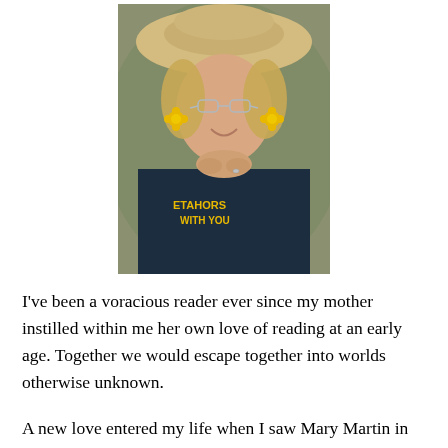[Figure (photo): Portrait photo of a smiling older woman with blonde hair, wearing a wide-brimmed straw hat, glasses, large yellow flower earrings, and a dark navy t-shirt with yellow text reading 'ETAHORS WITH YOU'. Her hands are clasped together in front of her.]
I've been a voracious reader ever since my mother instilled within me her own love of reading at an early age. Together we would escape together into worlds otherwise unknown.
A new love entered my life when I saw Mary Martin in PETER PAN. Struck with a fever from which I never recovered, I submerged myself in drama through high